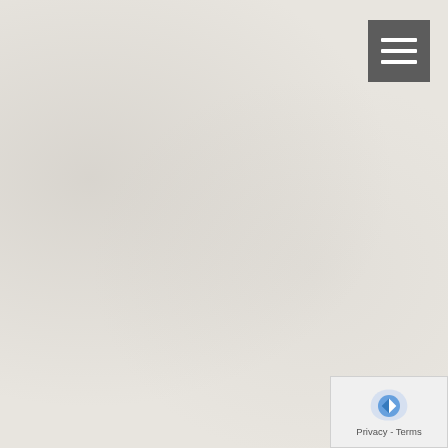[Figure (other): Hamburger menu button (three horizontal white lines on dark gray background) in top-right corner]
SpiritGrass is a unique col and bluegrass artist Eric Mi troubadour Clint Goss, worl Lynn Miller. SpiritGrass is a bluegrass styles with world world. Members of this gro improvisation. SpiritGrass w with David Akombo on djem guitar.
Music in the Moment, Im
orchestrated by Lynn Miller includes vocalists and an a instruments. The me with a flavor of worl participation and a power p
[Figure (other): Privacy & Terms badge with reCAPTCHA logo and arrow icon in bottom-right corner]